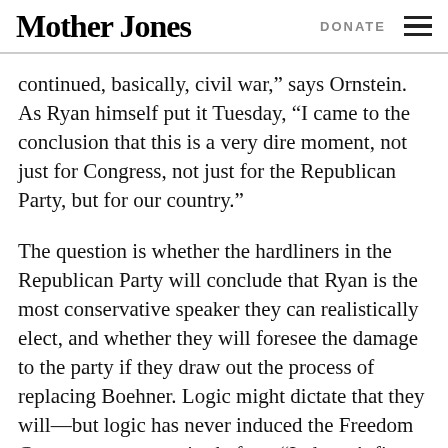Mother Jones | DONATE
continued, basically, civil war,” says Ornstein. As Ryan himself put it Tuesday, “I came to the conclusion that this is a very dire moment, not just for Congress, not just for the Republican Party, but for our country.”
The question is whether the hardliners in the Republican Party will conclude that Ryan is the most conservative speaker they can realistically elect, and whether they will foresee the damage to the party if they draw out the process of replacing Boehner. Logic might dictate that they will—but logic has never induced the Freedom Caucus to compromise before. “It doesn’t fit history or their